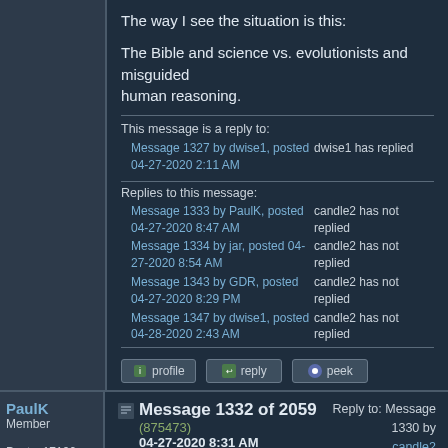The way I see the situation is this:
The Bible and science vs. evolutionists and misguided
human reasoning.
This message is a reply to:
Message 1327 by dwise1, posted 04-27-2020 2:11 AM	dwise1 has replied
Replies to this message:
Message 1333 by PaulK, posted 04-27-2020 8:47 AM	candle2 has not replied
Message 1334 by jar, posted 04-27-2020 8:54 AM	candle2 has not replied
Message 1343 by GDR, posted 04-27-2020 8:29 PM	candle2 has not replied
Message 1347 by dwise1, posted 04-28-2020 2:43 AM	candle2 has not replied
[Figure (screenshot): Forum action buttons: profile, reply, peek]
PaulK
Member

Posts: 17190
Message 1332 of 2059 (875473)
04-27-2020 8:31 AM
Reply to: Message 1330 by candle2
04-27-2020 8:14 AM
Re: Evolution over Religion